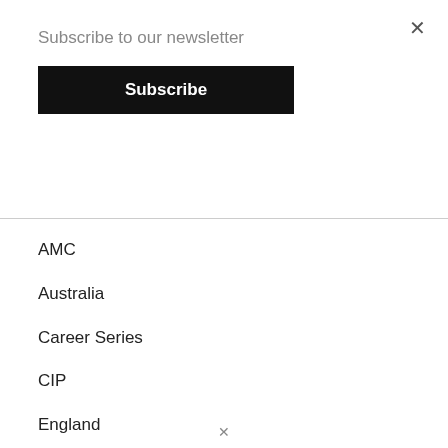×
Subscribe to our newsletter
Subscribe
AMC
Australia
Career Series
CIP
England
Fitness
GMC